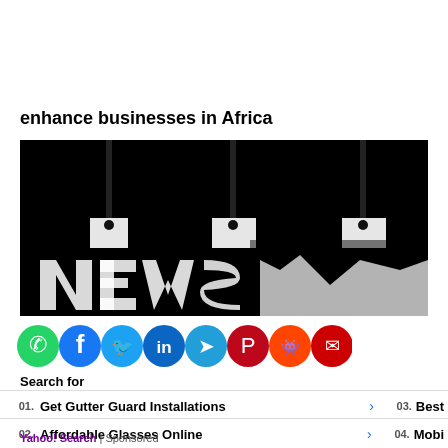enhance businesses in Africa
[Figure (photo): Black and white close-up photo of hanging pendant lamps or a blurry logo/typography on black background, showing white shapes suggesting letters.]
[Figure (infographic): Row of social sharing icons: WhatsApp (green), Facebook (blue), Twitter (light blue), LinkedIn (blue), Telegram (blue), Pinterest (red), Reddit (orange-red), Email/Mail (red)]
Search for
01. Get Gutter Guard Installations
02. Affordable Glasses Online
03. Best
04. Mobi
Yahoo! Search | Sponsored